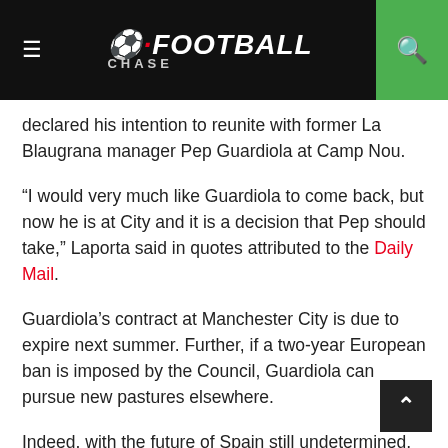Football Chase
declared his intention to reunite with former La Blaugrana manager Pep Guardiola at Camp Nou.
“I would very much like Guardiola to come back, but now he is at City and it is a decision that Pep should take,” Laporta said in quotes attributed to the Daily Mail.
Guardiola’s contract at Manchester City is due to expire next summer. Further, if a two-year European ban is imposed by the Council, Guardiola can pursue new pastures elsewhere.
Indeed, with the future of Spain still undetermined, Laporta has himself stated that he dreams of reuniting with the former head of Barca in Catalonia.
Guardiola won 179 of his 247 matches in charge of La